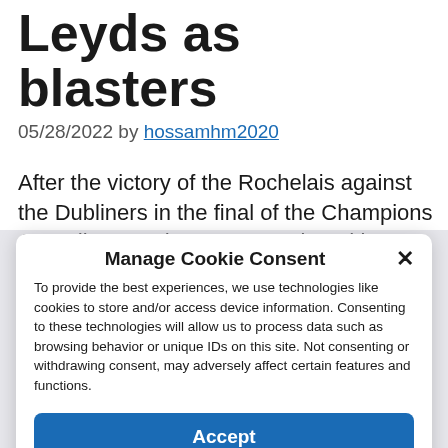Leyds as blasters
05/28/2022 by hossamhm2020
After the victory of the Rochelais against the Dubliners in the final of the Champions Cup, discover the scores assigned by our rugby
Manage Cookie Consent
To provide the best experiences, we use technologies like cookies to store and/or access device information. Consenting to these technologies will allow us to process data such as browsing behavior or unique IDs on this site. Not consenting or withdrawing consent, may adversely affect certain features and functions.
Accept
Cookie Policy